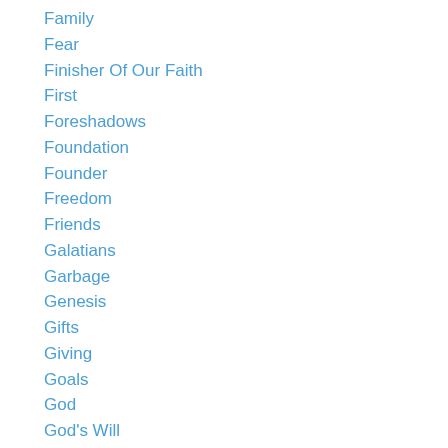Family
Fear
Finisher Of Our Faith
First
Foreshadows
Foundation
Founder
Freedom
Friends
Galatians
Garbage
Genesis
Gifts
Giving
Goals
God
God's Will
Good Shepherd
Gospel
Gospel Of John
Govern